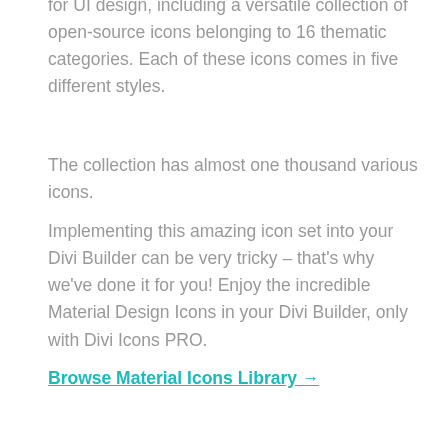for UI design, including a versatile collection of open-source icons belonging to 16 thematic categories. Each of these icons comes in five different styles.
The collection has almost one thousand various icons.
Implementing this amazing icon set into your Divi Builder can be very tricky – that's why we've done it for you! Enjoy the incredible Material Design Icons in your Divi Builder, only with Divi Icons PRO.
Browse Material Icons Library →